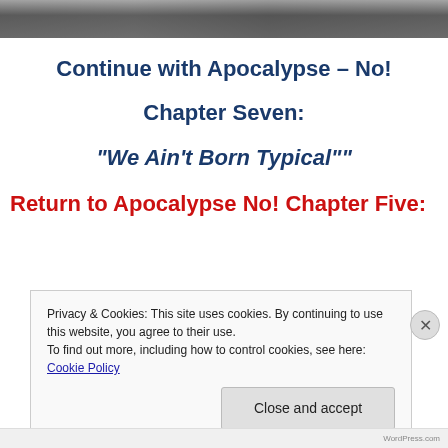[Figure (photo): Partial photo strip at top of page, dark/muted tones showing partial scene]
Continue with Apocalypse – No!
Chapter Seven:
“We Ain’t Born Typical””
Return to Apocalypse No! Chapter Five:
Privacy & Cookies: This site uses cookies. By continuing to use this website, you agree to their use.
To find out more, including how to control cookies, see here: Cookie Policy